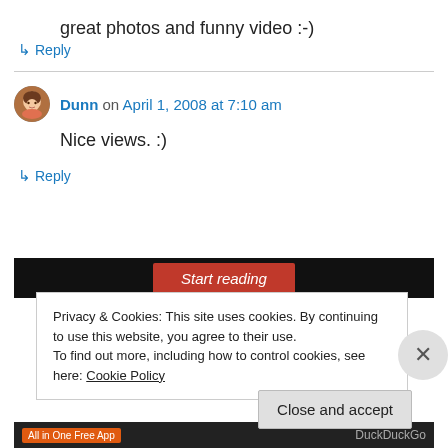great photos and funny video :-)
↳ Reply
Dunn on April 1, 2008 at 7:10 am
Nice views. :)
↳ Reply
[Figure (screenshot): Dark banner with red 'Start reading' button]
Privacy & Cookies: This site uses cookies. By continuing to use this website, you agree to their use.
To find out more, including how to control cookies, see here: Cookie Policy
Close and accept
[Figure (screenshot): Bottom ad bar with 'All in One Free App' and DuckDuckGo]